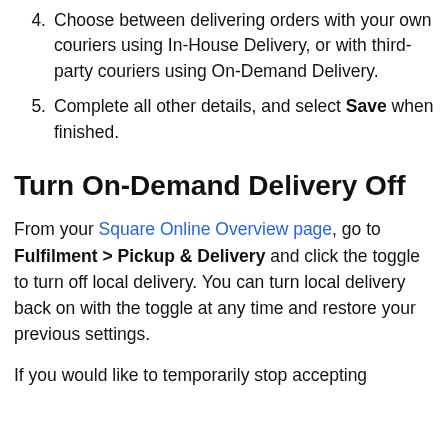4. Choose between delivering orders with your own couriers using In-House Delivery, or with third-party couriers using On-Demand Delivery.
5. Complete all other details, and select Save when finished.
Turn On-Demand Delivery Off
From your Square Online Overview page, go to Fulfilment > Pickup & Delivery and click the toggle to turn off local delivery. You can turn local delivery back on with the toggle at any time and restore your previous settings.
If you would like to temporarily stop accepting